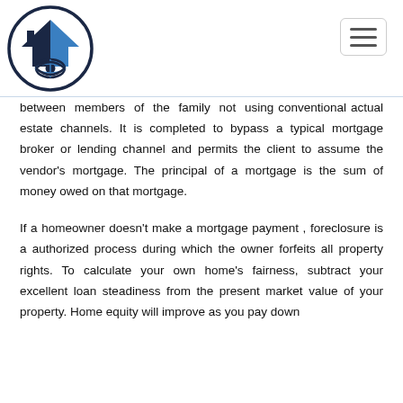[Figure (logo): Real estate company logo: a house with a roof and globe/eye symbol inside a circle, in dark blue and teal/blue colors]
between members of the family not using conventional actual estate channels. It is completed to bypass a typical mortgage broker or lending channel and permits the client to assume the vendor's mortgage. The principal of a mortgage is the sum of money owed on that mortgage.

If a homeowner doesn't make a mortgage payment , foreclosure is a authorized process during which the owner forfeits all property rights. To calculate your own home's fairness, subtract your excellent loan steadiness from the present market value of your property. Home equity will improve as you pay down